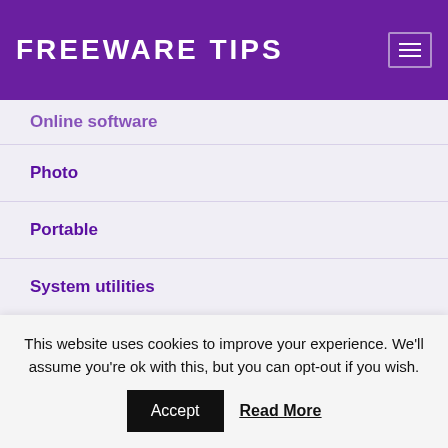FREEWARE TIPS
Online software
Photo
Portable
System utilities
Video
This website uses cookies to improve your experience. We'll assume you're ok with this, but you can opt-out if you wish.
Accept   Read More